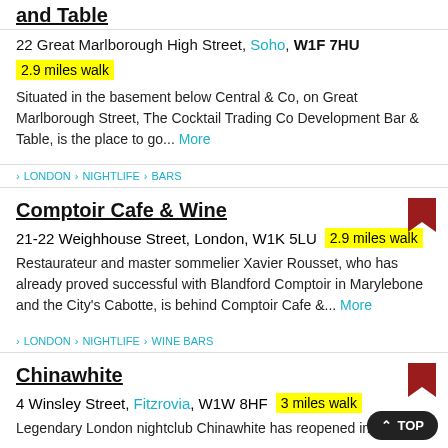and Table
22 Great Marlborough High Street, Soho, W1F 7HU
2.9 miles walk
Situated in the basement below Central & Co, on Great Marlborough Street, The Cocktail Trading Co Development Bar & Table, is the place to go...  More
LONDON > NIGHTLIFE > BARS
Comptoir Cafe & Wine
21-22 Weighhouse Street, London, W1K 5LU  2.9 miles walk
Restaurateur and master sommelier Xavier Rousset, who has already proved successful with Blandford Comptoir in Marylebone and the City's Cabotte, is behind Comptoir Cafe &...  More
LONDON > NIGHTLIFE > WINE BARS
Chinawhite
4 Winsley Street, Fitzrovia, W1W 8HF  3 miles walk
Legendary London nightclub Chinawhite has reopened in a new